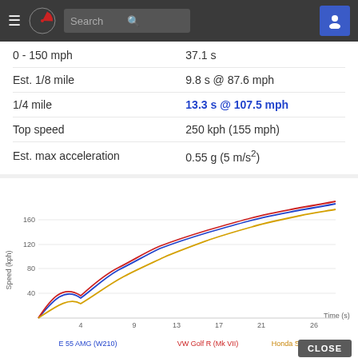[Figure (screenshot): Navigation bar with hamburger menu, logo, search box, and user icon]
|  |  |
| --- | --- |
| 0 - 150 mph | 37.1 s |
| Est. 1/8 mile | 9.8 s @ 87.6 mph |
| 1/4 mile | 13.3 s @ 107.5 mph |
| Top speed | 250 kph (155 mph) |
| Est. max acceleration | 0.55 g (5 m/s²) |
[Figure (line-chart): ]